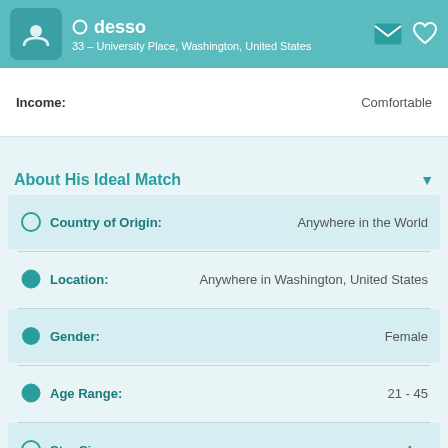desso — 33 – University Place, Washington, United States
Income: Comfortable
About His Ideal Match
Country of Origin: Anywhere in the World
Location: Anywhere in Washington, United States
Gender: Female
Age Range: 21 - 45
Star Sign: Any
Height: Any